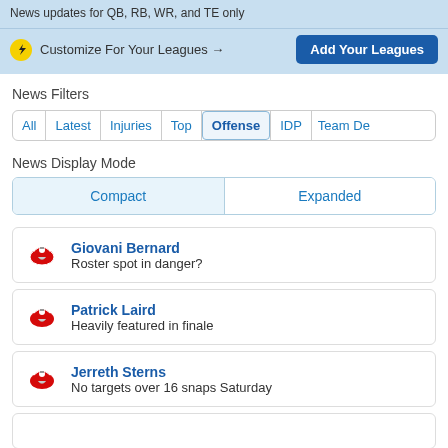News updates for QB, RB, WR, and TE only
Customize For Your Leagues →  Add Your Leagues
News Filters
All  Latest  Injuries  Top  Offense  IDP  Team De
News Display Mode
Compact  Expanded
Giovani Bernard
Roster spot in danger?
Patrick Laird
Heavily featured in finale
Jerreth Sterns
No targets over 16 snaps Saturday